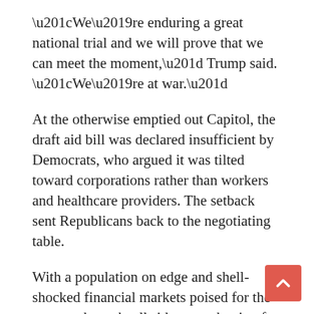“We’re enduring a great national trial and we will prove that we can meet the moment,” Trump said. “We’re at war.”
At the otherwise emptied out Capitol, the draft aid bill was declared insufficient by Democrats, who argued it was tilted toward corporations rather than workers and healthcare providers. The setback sent Republicans back to the negotiating table.
With a population on edge and shell-shocked financial markets poised for the new work week, all sides were hoping for an agreement that would provide some relief against health and economic crises that are likely to stretch for several months.
“Americans don’t need to see us haggling endlessly,” warned Senate Majority Leader McConnell, R-Ky., his voice rising on the Senate floor. He sought passage of the package by Monday.
But Democrats say the largely GOP-led effort does not go far enough to provide health care and unemployment aid for Americans and fails to protects against corporate misuse of $500…